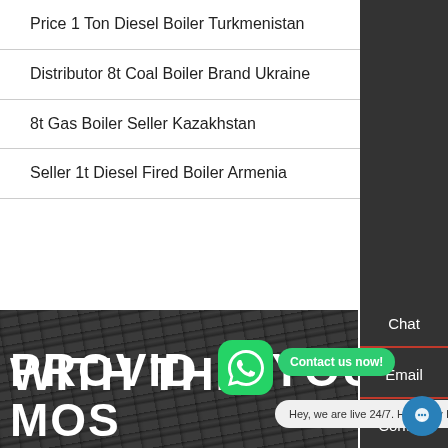Price 1 Ton Diesel Boiler Turkmenistan
Distributor 8t Coal Boiler Brand Ukraine
8t Gas Boiler Seller Kazakhstan
Seller 1t Diesel Fired Boiler Armenia
[Figure (photo): Dark coal texture hero background with large white bold text reading 'PROVID... YOU...' and 'WITH THE MOS...' partially visible. A WhatsApp green icon button and a 'Contact us now!' green button overlay the image. A chat bubble at the bottom reads 'Hey, we are live 24/7. How may I help you?' with a blue chat icon circle.]
Chat
Email
Contact